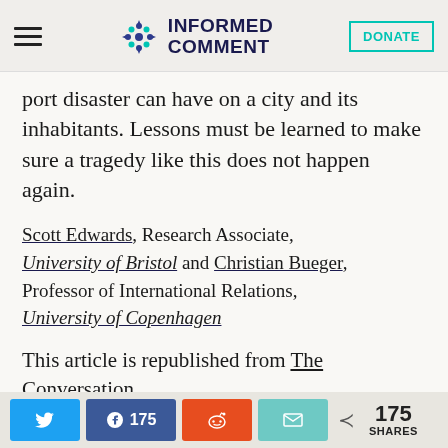INFORMED COMMENT | DONATE
port disaster can have on a city and its inhabitants. Lessons must be learned to make sure a tragedy like this does not happen again.
Scott Edwards, Research Associate, University of Bristol and Christian Bueger, Professor of International Relations, University of Copenhagen
This article is republished from The Conversation...